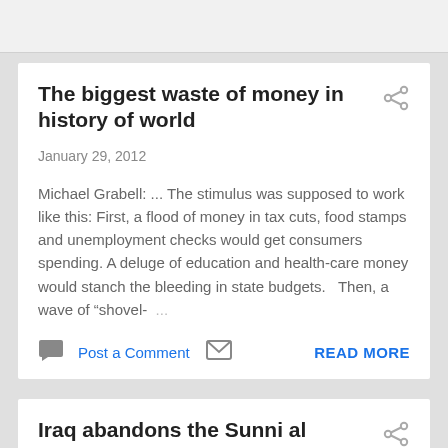The biggest waste of money in history of world
January 29, 2012
Michael Grabell: ... The stimulus was supposed to work like this: First, a flood of money in tax cuts, food stamps and unemployment checks would get consumers spending. A deluge of education and health-care money would stanch the bleeding in state budgets.  Then, a wave of “shovel-  ...
Post a Comment    READ MORE
Iraq abandons the Sunni al Qaeda fighters